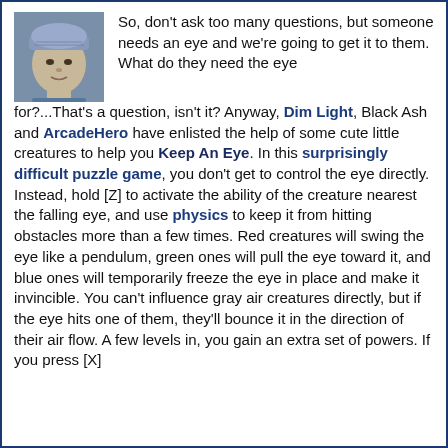[Figure (photo): Small avatar photo of a person wearing a knitted hat, grayscale/blue-tinted image]
So, don't ask too many questions, but someone needs an eye and we're going to get it to them. What do they need the eye for?...That's a question, isn't it? Anyway, Dim Light, Black Ash and ArcadeHero have enlisted the help of some cute little creatures to help you Keep An Eye. In this surprisingly difficult puzzle game, you don't get to control the eye directly. Instead, hold [Z] to activate the ability of the creature nearest the falling eye, and use physics to keep it from hitting obstacles more than a few times. Red creatures will swing the eye like a pendulum, green ones will pull the eye toward it, and blue ones will temporarily freeze the eye in place and make it invincible. You can't influence gray air creatures directly, but if the eye hits one of them, they'll bounce it in the direction of their air flow. A few levels in, you gain an extra set of powers. If you press [X] while...